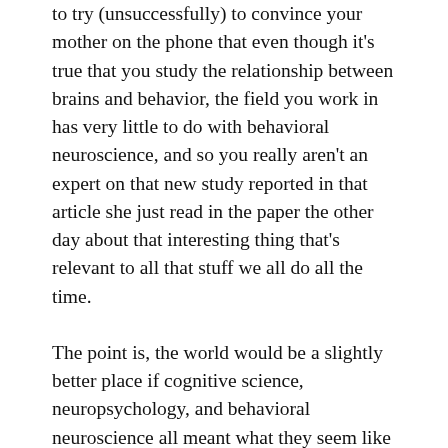to try (unsuccessfully) to convince your mother on the phone that even though it's true that you study the relationship between brains and behavior, the field you work in has very little to do with behavioral neuroscience, and so you really aren't an expert on that new study reported in that article she just read in the paper the other day about that interesting thing that's relevant to all that stuff we all do all the time.
The point is, the world would be a slightly better place if cognitive science, neuropsychology, and behavioral neuroscience all meant what they seem like they should mean. But only very slightly better.
Anyway, aside from my burning need to complain about trivial things, I bring these ugly terminological matters up partly out of idle curiosity. And what I'm idly curious about is this: